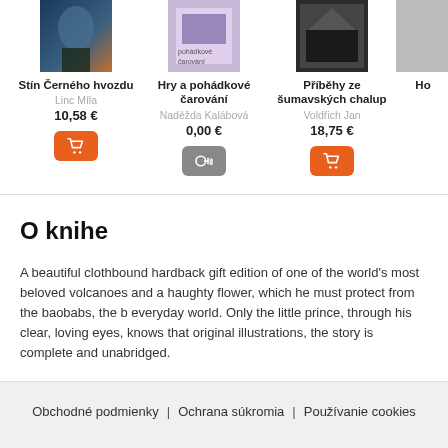[Figure (illustration): Book cover for Stín Černého hvozdu]
Stín Černého hvozdu
Linc Míla
10,58 €
Hry a pohádkové čarování
Naděžda Kalábová
0,00 €
Příběhy ze šumavských chalup
Voldřich Jan
18,75 €
O knihe
A beautiful clothbound hardback gift edition of one of the world's most beloved volcanoes and a haughty flower, which he must protect from the baobabs, the b everyday world. Only the little prince, through his clear, loving eyes, knows that original illustrations, the story is complete and unabridged.
Obchodné podmienky  |  Ochrana súkromia  |  Používanie cookies